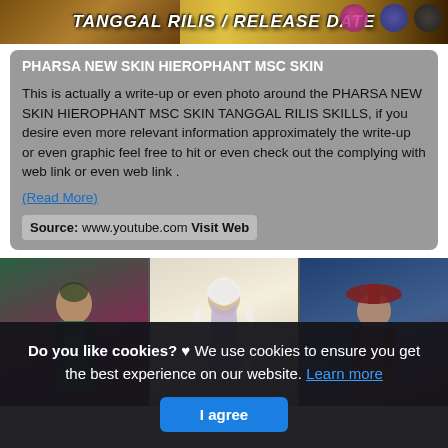[Figure (screenshot): Top banner image with game-related graphic and title text 'TANGGAL RILIS / RELEASE DATE' in stylized yellow/white italic font over a golden background]
PHARSA NEW SKIN HIEROPHANT MSC SKIN
This is actually a write-up or even photo around the PHARSA NEW SKIN HIEROPHANT MSC SKIN TANGGAL RILIS SKILLS, if you desire even more relevant information approximately the write-up or even graphic feel free to hit or even check out the complying with web link or even web link .
(Read More)
Source: www.youtube.com Visit Web
[Figure (screenshot): Three-panel collage of Mobile Legends game character art: left panel shows a character in green/red tones, center shows a white-haired female character, right shows a character with ornate hat in blue/red tones]
Do you like cookies? ♥ We use cookies to ensure you get the best experience on our website. Learn more
I agree